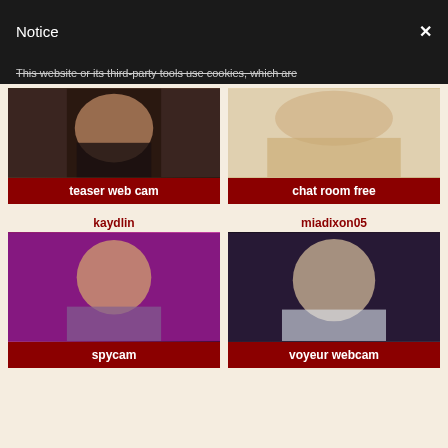Notice
This website or its third-party tools use cookies, which are
[Figure (photo): Webcam thumbnail - teaser web cam]
teaser web cam
[Figure (photo): Webcam thumbnail - chat room free]
chat room free
kaydlin
[Figure (photo): Webcam thumbnail for kaydlin - spycam]
spycam
miadixon05
[Figure (photo): Webcam thumbnail for miadixon05 - voyeur webcam]
voyeur webcam